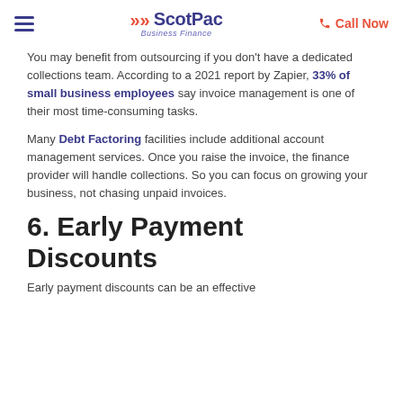ScotPac Business Finance — Call Now
You may benefit from outsourcing if you don't have a dedicated collections team. According to a 2021 report by Zapier, 33% of small business employees say invoice management is one of their most time-consuming tasks.
Many Debt Factoring facilities include additional account management services. Once you raise the invoice, the finance provider will handle collections. So you can focus on growing your business, not chasing unpaid invoices.
6. Early Payment Discounts
Early payment discounts can be an effective